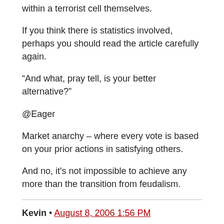within a terrorist cell themselves.
If you think there is statistics involved, perhaps you should read the article carefully again.
“And what, pray tell, is your better alternative?”
@Eager
Market anarchy – where every vote is based on your prior actions in satisfying others.
And no, it's not impossible to achieve any more than the transition from feudalism.
Kevin • August 8, 2006 1:56 PM
I am not afraid of terrorists so much as I am mad at them. This Cato report is suggesting that Americans are walking around afraid of their own shadows which is ridiculous. We are however very angry and desire and end to the Islamo-fascist thuggery that has caused decades of war and attacks right here on our soil.